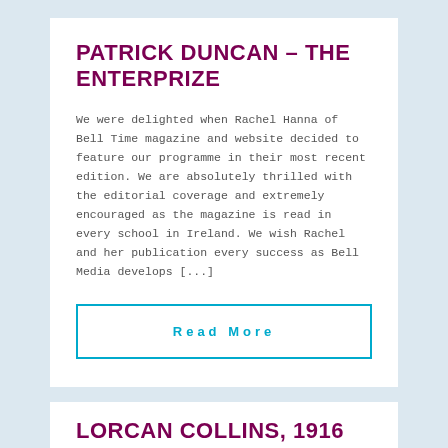PATRICK DUNCAN – THE ENTERPRIZE
We were delighted when Rachel Hanna of Bell Time magazine and website decided to feature our programme in their most recent edition. We are absolutely thrilled with the editorial coverage and extremely encouraged as the magazine is read in every school in Ireland. We wish Rachel and her publication every success as Bell Media develops [...]
Read More
LORCAN COLLINS, 1916 REBELLION